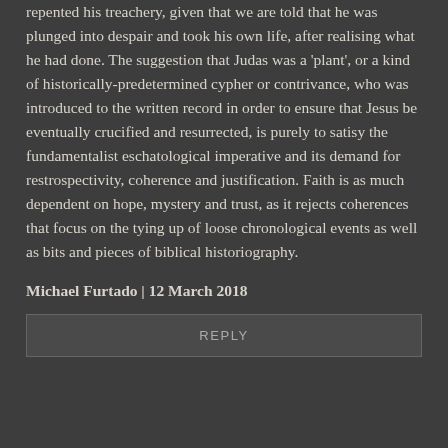repented his treachery, given that we are told that he was plunged into despair and took his own life, after realising what he had done. The suggestion that Judas was a 'plant', or a kind of historically-predetermined cypher or contrivance, who was introduced to the written record in order to ensure that Jesus be eventually crucified and resurrected, is purely to satisy the fundamentalist eschatological imperative and its demand for restrospectivity, coherence and justification. Faith is as much dependent on hope, mystery and trust, as it rejects coherences that focus on the tying up of loose chronological events as well as bits and pieces of biblical historiography.
Michael Furtado | 12 March 2018
REPLY